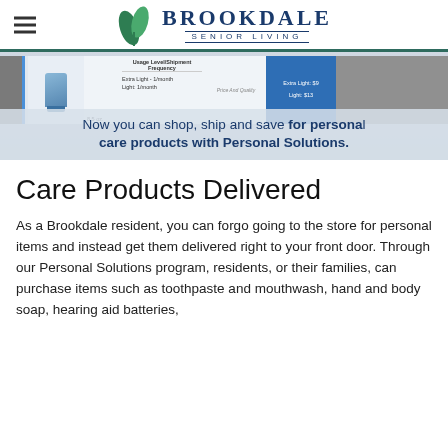Brookdale Senior Living
[Figure (screenshot): Hero banner showing a partial table preview of product shipment frequency and pricing, with overlay text reading: Now you can shop, ship and save for personal care products with Personal Solutions.]
Care Products Delivered
As a Brookdale resident, you can forgo going to the store for personal items and instead get them delivered right to your front door. Through our Personal Solutions program, residents, or their families, can purchase items such as toothpaste and mouthwash, hand and body soap, hearing aid batteries,